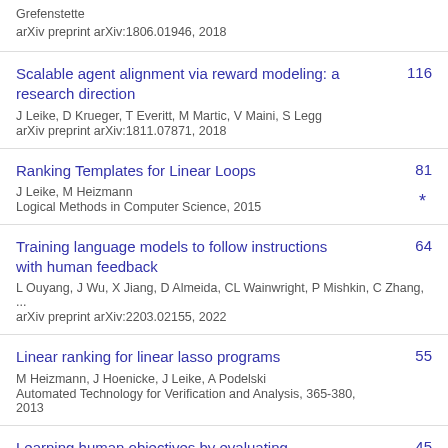Grefenstette
arXiv preprint arXiv:1806.01946, 2018
Scalable agent alignment via reward modeling: a research direction
J Leike, D Krueger, T Everitt, M Martic, V Maini, S Legg
arXiv preprint arXiv:1811.07871, 2018
116
Ranking Templates for Linear Loops
J Leike, M Heizmann
Logical Methods in Computer Science, 2015
81 *
Training language models to follow instructions with human feedback
L Ouyang, J Wu, X Jiang, D Almeida, CL Wainwright, P Mishkin, C Zhang, ...
arXiv preprint arXiv:2203.02155, 2022
64
Linear ranking for linear lasso programs
M Heizmann, J Hoenicke, J Leike, A Podelski
Automated Technology for Verification and Analysis, 365-380, 2013
55
Learning human objectives by evaluating
45